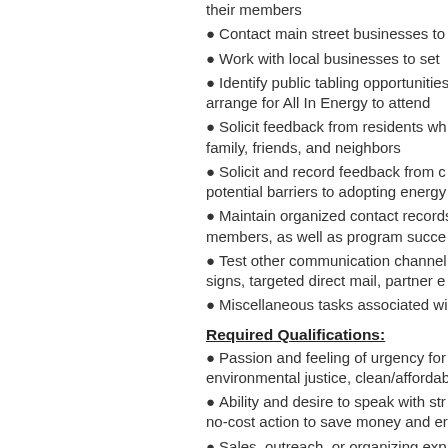their members
Contact main street businesses to
Work with local businesses to set
Identify public tabling opportunities arrange for All In Energy to attend
Solicit feedback from residents wh family, friends, and neighbors
Solicit and record feedback from c potential barriers to adopting energy
Maintain organized contact records members, as well as program succe
Test other communication channel signs, targeted direct mail, partner e
Miscellaneous tasks associated wi
Required Qualifications:
Passion and feeling of urgency for environmental justice, clean/affordab
Ability and desire to speak with str no-cost action to save money and er
Sales, outreach, or organizing exp member recruitment
Demonstrated ability to creatively p
Public speaking experience
Ability to work independently and a
Details-oriented and able to keep n
Ability to transport self in and arou residents of this community and the